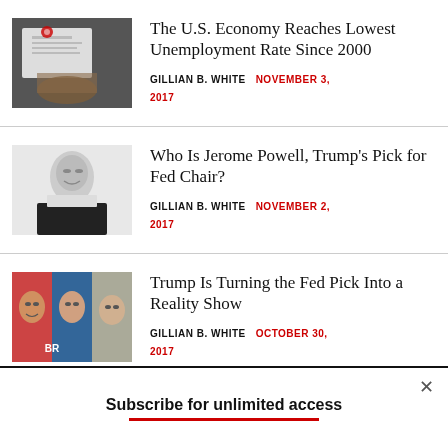[Figure (photo): Person holding a job application paper with red logo]
The U.S. Economy Reaches Lowest Unemployment Rate Since 2000
GILLIAN B. WHITE   NOVEMBER 3, 2017
[Figure (photo): Portrait of Jerome Powell in black and white]
Who Is Jerome Powell, Trump’s Pick for Fed Chair?
GILLIAN B. WHITE   NOVEMBER 2, 2017
[Figure (photo): Three people collage: Gary Cohn, Jerome Powell, and Janet Yellen]
Trump Is Turning the Fed Pick Into a Reality Show
GILLIAN B. WHITE   OCTOBER 30, 2017
Subscribe for unlimited access